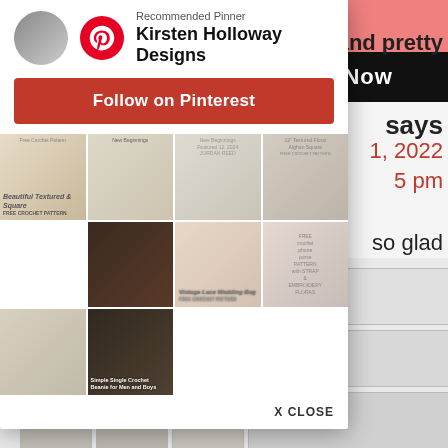[Figure (screenshot): Pinterest recommended pinner modal overlay showing Kirsten Holloway Designs with a Follow on Pinterest button and a grid of crochet pattern images, with an X CLOSE button at the bottom. Behind the overlay, partial text and pink background from the underlying webpage is visible.]
Recommended Pinner
Kirsten Holloway Designs
Follow on Pinterest
X CLOSE